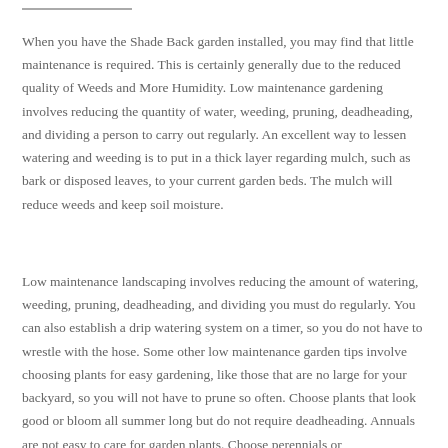When you have the Shade Back garden installed, you may find that little maintenance is required. This is certainly generally due to the reduced quality of Weeds and More Humidity. Low maintenance gardening involves reducing the quantity of water, weeding, pruning, deadheading, and dividing a person to carry out regularly. An excellent way to lessen watering and weeding is to put in a thick layer regarding mulch, such as bark or disposed leaves, to your current garden beds. The mulch will reduce weeds and keep soil moisture.
Low maintenance landscaping involves reducing the amount of watering, weeding, pruning, deadheading, and dividing you must do regularly. You can also establish a drip watering system on a timer, so you do not have to wrestle with the hose. Some other low maintenance garden tips involve choosing plants for easy gardening, like those that are no large for your backyard, so you will not have to prune so often. Choose plants that look good or bloom all summer long but do not require deadheading. Annuals are not easy to care for garden plants. Choose perennials or